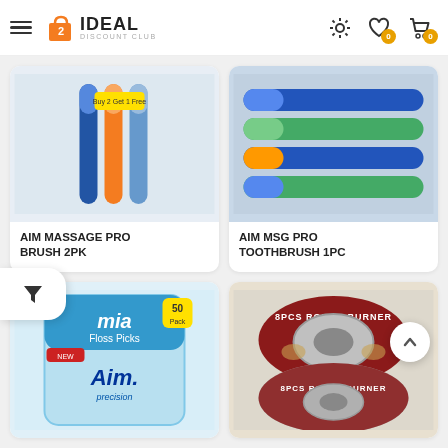Ideal Discount Club — navigation header with menu, logo, settings, wishlist (0), cart (0)
[Figure (photo): Product photo of AIM Massage Pro Brush 2PK — blue and orange toothbrushes in packaging]
AIM MASSAGE PRO BRUSH 2PK
[Figure (photo): Product photo of AIM MSG Pro Toothbrush 1PC — multiple blue toothbrushes laid flat]
AIM MSG PRO TOOTHBRUSH 1PC
[Figure (photo): Product photo of Aim Floss Picks 50 pack — mia Floss Picks New packaging with Aim Precision branding]
[Figure (photo): Product photo of 8PCS Round Burner — two round burner lids stacked]